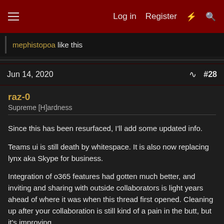Log in  Register  #28
mephistopoa like this
Jun 14, 2020  #28
raz-0
Supreme [H]ardness
Since this has been resurfaced, I'll add some updated info.
Teams ui is still death by whitespace. It is also now replacing lynx aka Skype for business.
Integration of o365 features had gotten much better, and inviting and sharing with outside collaborators is light years ahead of where it was when this thread first opened. Cleaning up after your collaboration is still kind of a pain in the butt, but it's improving.